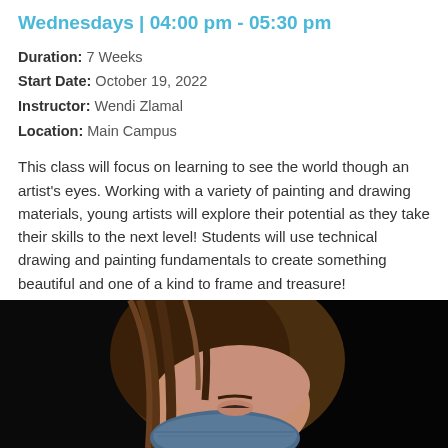Wednesdays | 04:00 pm - 05:30 pm
Duration: 7 Weeks
Start Date: October 19, 2022
Instructor: Wendi Zlamal
Location: Main Campus
This class will focus on learning to see the world though an artist's eyes. Working with a variety of painting and drawing materials, young artists will explore their potential as they take their skills to the next level! Students will use technical drawing and painting fundamentals to create something beautiful and one of a kind to frame and treasure!
ENROLL NOW →
[Figure (photo): Photo of a young girl with brown hair and a blue face mask, looking downward, against a dark/black background.]